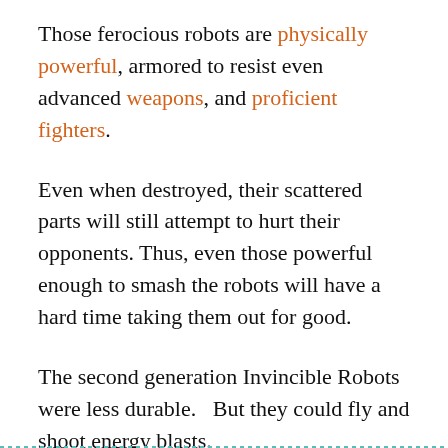Those ferocious robots are physically powerful, armored to resist even advanced weapons, and proficient fighters.
Even when destroyed, their scattered parts will still attempt to hurt their opponents. Thus, even those powerful enough to smash the robots will have a hard time taking them out for good.
The second generation Invincible Robots were less durable.   But they could fly and shoot energy blasts.